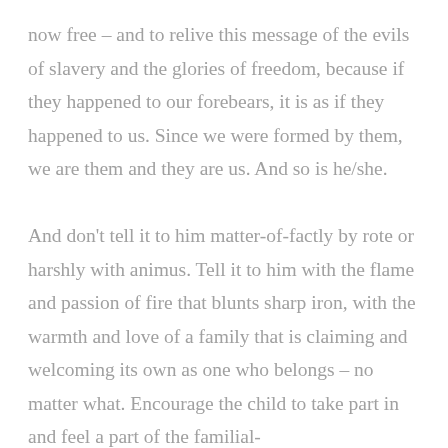now free – and to relive this message of the evils of slavery and the glories of freedom, because if they happened to our forebears, it is as if they happened to us. Since we were formed by them, we are them and they are us. And so is he/she.

And don't tell it to him matter-of-factly by rote or harshly with animus. Tell it to him with the flame and passion of fire that blunts sharp iron, with the warmth and love of a family that is claiming and welcoming its own as one who belongs – no matter what. Encourage the child to take part in and feel a part of the familial-